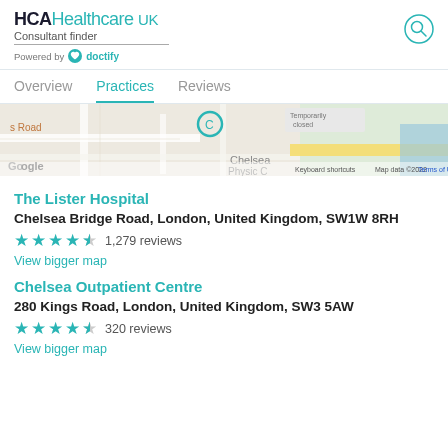HCA Healthcare UK Consultant finder Powered by doctify
Overview | Practices | Reviews
[Figure (map): Google Map partial view showing Chelsea area of London, including Chelsea Physic Garden, with map controls and attribution: Keyboard shortcuts, Map data ©2022, Terms of Use]
The Lister Hospital
Chelsea Bridge Road, London, United Kingdom, SW1W 8RH
1,279 reviews
View bigger map
Chelsea Outpatient Centre
280 Kings Road, London, United Kingdom, SW3 5AW
320 reviews
View bigger map